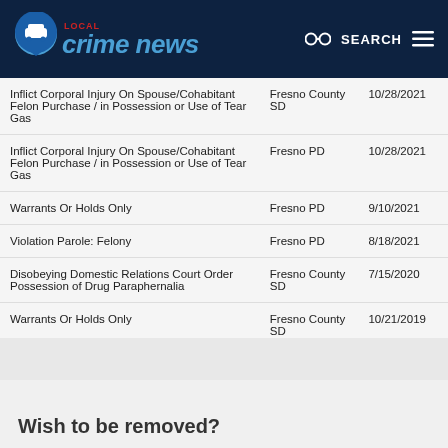LOCAL crime news | SEARCH
| Charge | Agency | Date |
| --- | --- | --- |
| Inflict Corporal Injury On Spouse/Cohabitant Felon Purchase / in Possession or Use of Tear Gas | Fresno County SD | 10/28/2021 |
| Inflict Corporal Injury On Spouse/Cohabitant Felon Purchase / in Possession or Use of Tear Gas | Fresno PD | 10/28/2021 |
| Warrants Or Holds Only | Fresno PD | 9/10/2021 |
| Violation Parole: Felony | Fresno PD | 8/18/2021 |
| Disobeying Domestic Relations Court Order Possession of Drug Paraphernalia | Fresno County SD | 7/15/2020 |
| Warrants Or Holds Only | Fresno County SD | 10/21/2019 |
Wish to be removed?